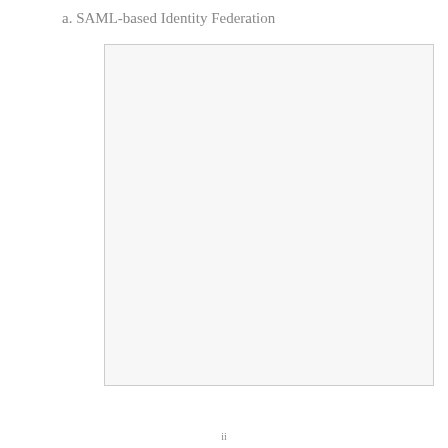a. SAML-based Identity Federation
[Figure (illustration): SAML-based Identity Federation diagram — blank/placeholder figure box with light gray background and thin border]
ii